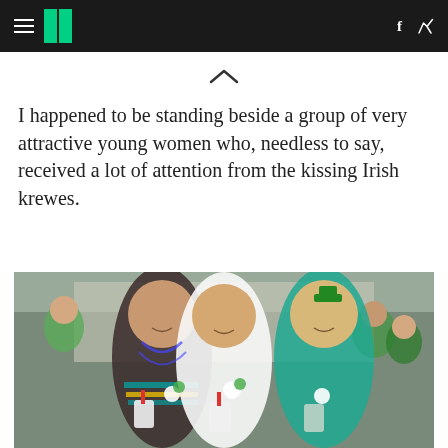HuffPost navigation bar with hamburger menu, logo, Facebook and Twitter icons
I happened to be standing beside a group of very attractive young women who, needless to say, received a lot of attention from the kissing Irish krewes.
[Figure (photo): Three young women smiling and holding drinks with flowers at a St. Patrick's Day parade, wearing green and festive attire, crowd in background]